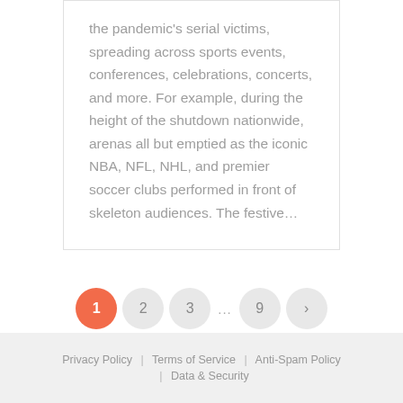the pandemic's serial victims, spreading across sports events, conferences, celebrations, concerts, and more. For example, during the height of the shutdown nationwide, arenas all but emptied as the iconic NBA, NFL, NHL, and premier soccer clubs performed in front of skeleton audiences. The festive&hellip;
Privacy Policy | Terms of Service | Anti-Spam Policy | Data & Security